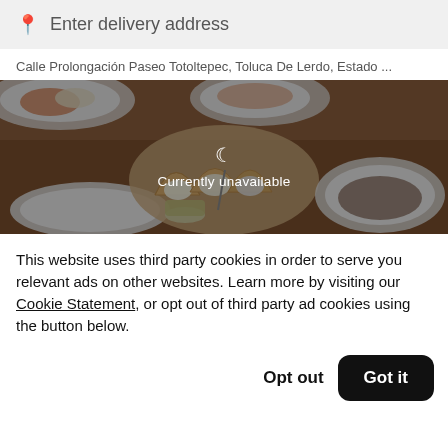Enter delivery address
Calle Prolongación Paseo Totoltepec, Toluca De Lerdo, Estado ...
[Figure (photo): Food photo showing tacos and dishes from overhead, with a 'Currently unavailable' overlay and moon icon]
This website uses third party cookies in order to serve you relevant ads on other websites. Learn more by visiting our Cookie Statement, or opt out of third party ad cookies using the button below.
Opt out
Got it